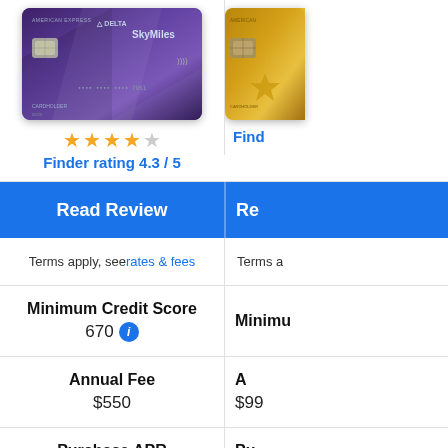[Figure (photo): American Express Delta SkyMiles credit card (purple), partially cropped with a gold American Express card on the right]
★★★★☆ Finder rating 4.3 / 5
Read Review | Re
Terms apply, see rates & fees | Terms a
Minimum Credit Score: 670 | Minimum
Annual Fee: $550 | $99
Purchase APR | Pu